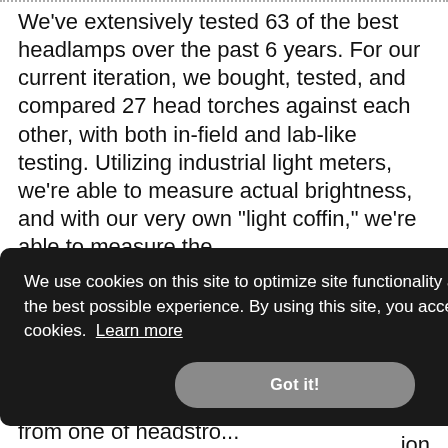We've extensively tested 63 of the best headlamps over the past 6 years. For our current iteration, we bought, tested, and compared 27 head torches against each other, with both in-field and lab-like testing. Utilizing industrial light meters, we're able to measure actual brightness, and with our very own "light coffin," we're able to measure the
...eal- ...camp ...the ...e use, ...s ...ion
[Figure (screenshot): Cookie consent banner overlay with dark background. Text reads: 'We use cookies on this site to optimize site functionality and give you the best possible experience. By using this site, you accept our use of cookies. Learn more' with a 'Got it!' button.]
from one of headstro...